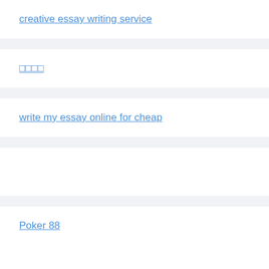creative essay writing service
□□□□
write my essay online for cheap
Poker 88